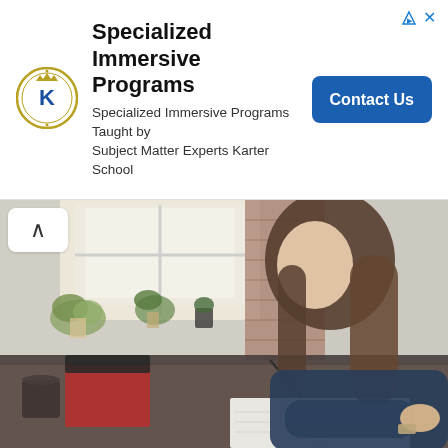[Figure (logo): Karter School circular emblem logo with K in center]
Specialized Immersive Programs
Specialized Immersive Programs Taught by Subject Matter Experts Karter School
Contact Us
[Figure (photo): Young woman with long brown hair sitting at a desk writing in a notebook, with plants and a window in the background, red book and coffee cup on the desk]